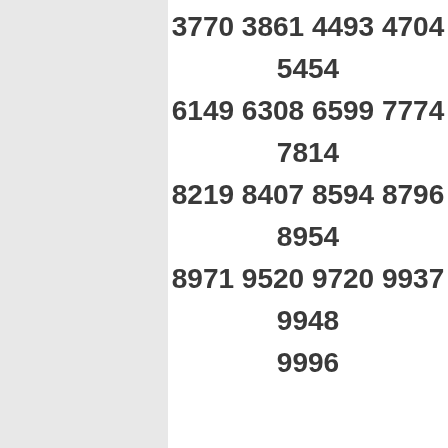3770 3861 4493 4704
5454
6149 6308 6599 7774
7814
8219 8407 8594 8796
8954
8971 9520 9720 9937
9948
9996